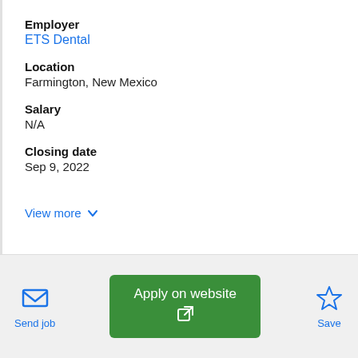Employer
ETS Dental
Location
Farmington, New Mexico
Salary
N/A
Closing date
Sep 9, 2022
View more
[Figure (logo): ETS Dental company logo partially visible at bottom of content area]
Send job
Apply on website
Save